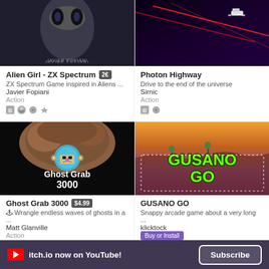[Figure (screenshot): Alien Girl ZX Spectrum game cover art showing metallic alien figure, dark blue/grey tones, text JAVIER FOPIANI at bottom]
Alien Girl - ZX Spectrum  2€
ZX Spectrum Game inspired in Aliens ...
Javier Fopiani
Action
[Figure (screenshot): Photon Highway game cover art with dark purple background and red laser beams]
Photon Highway
Drive to the end of the universe
Sirnic
Action
[Figure (screenshot): Ghost Grab 3000 game cover art showing cartoon character with helmet on dark background with Ghost Grab 3000 text]
Ghost Grab 3000  $4.99
🕹 Wrangle endless waves of ghosts in a ...
Matt Glanville
Action
[Figure (screenshot): GUSANO GO game cover art with orange and purple landscape and green outlined GUSANO GO text]
GUSANO GO
Snappy arcade game about a very long ...
klicktock
itch.io now on YouTube!  Subscribe